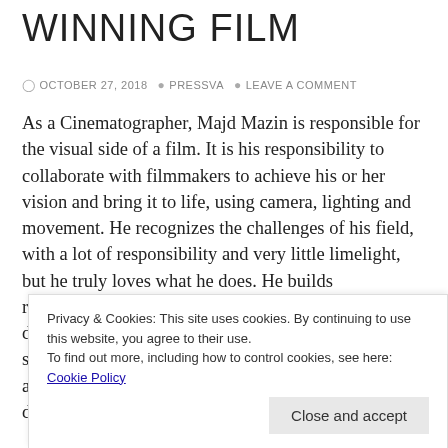WINNING FILM
OCTOBER 27, 2018  PRESSVA  LEAVE A COMMENT
As a Cinematographer, Majd Mazin is responsible for the visual side of a film. It is his responsibility to collaborate with filmmakers to achieve his or her vision and bring it to life, using camera, lighting and movement. He recognizes the challenges of his field, with a lot of responsibility and very little limelight, but he truly loves what he does. He builds relationships with those he works with, making sure a director's vision is satisfied and an actor's talent is the showcase of a scene. As a camera assistant, he approaches each new project with the same determination. He is truly a master behind the camera.
Privacy & Cookies: This site uses cookies. By continuing to use this website, you agree to their use.
To find out more, including how to control cookies, see here: Cookie Policy